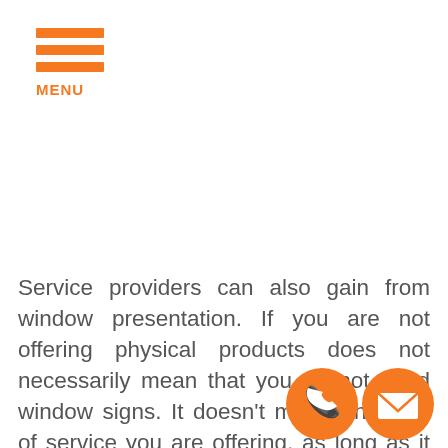MENU
Service providers can also gain from window presentation. If you are not offering physical products does not necessarily mean that you do not need window signs. It doesn't matter the kind of service you are offering, as long as it is legal, you should gain out of window designs, graphics, and signs. For example, your window sign may illustrate special services you offer or your popular service. We can also come up with a presentation that accurately show your services. Our specialists a  aila  nd willing to work to meet your needs a  hat  our
[Figure (illustration): Orange phone call icon circle button]
[Figure (illustration): Orange email envelope icon circle button]